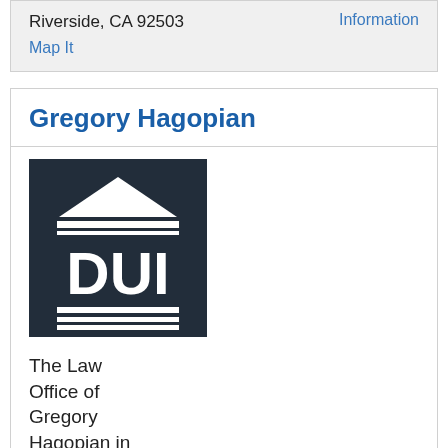Riverside, CA 92503
Map It
Information
Gregory Hagopian
[Figure (logo): DUI law office logo: dark navy background with a courthouse/temple silhouette (triangle roof, columns) above the text 'DUI' in large white letters, with horizontal bar lines below.]
The Law Office of Gregory Hagopian in Visalia,